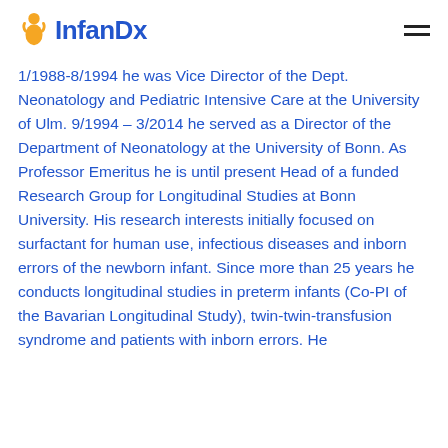InfanDx
1/1988-8/1994 he was Vice Director of the Dept. Neonatology and Pediatric Intensive Care at the University of Ulm. 9/1994 – 3/2014 he served as a Director of the Department of Neonatology at the University of Bonn. As Professor Emeritus he is until present Head of a funded Research Group for Longitudinal Studies at Bonn University. His research interests initially focused on surfactant for human use, infectious diseases and inborn errors of the newborn infant. Since more than 25 years he conducts longitudinal studies in preterm infants (Co-PI of the Bavarian Longitudinal Study), twin-twin-transfusion syndrome and patients with inborn errors. He